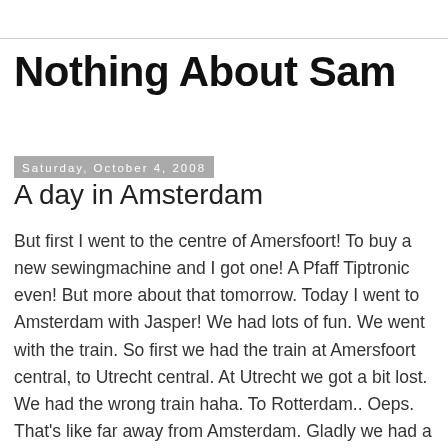Nothing About Sam
Saturday, October 4, 2008
A day in Amsterdam
But first I went to the centre of Amersfoort! To buy a new sewingmachine and I got one! A Pfaff Tiptronic even! But more about that tomorrow. Today I went to Amsterdam with Jasper! We had lots of fun. We went with the train. So first we had the train at Amersfoort central, to Utrecht central. At Utrecht we got a bit lost. We had the wrong train haha. To Rotterdam.. Oeps. That's like far away from Amsterdam. Gladly we had a wrong spot at the train, so we moved. While we were looking for an other seat, we asked the conductor where this train would go. He said Rotterdam. Gladly we could get out of the train, for he left. After that we had the right train, thank god. First we went to Laura dolls. I couldn't find anything there. Just like Episode. After those two vintage shops we went to Welle Warenhaus. I have a tini tiny